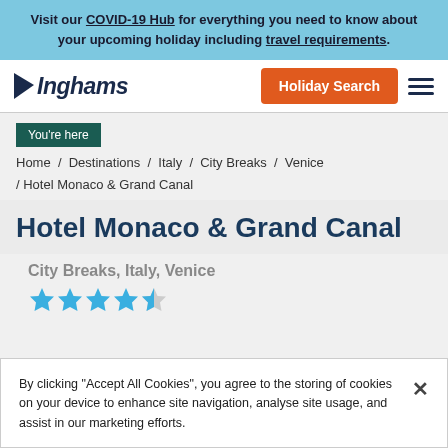Visit our COVID-19 Hub for everything you need to know about your upcoming holiday including travel requirements.
[Figure (logo): Inghams travel company logo with stylized arrow and italic text]
Holiday Search
You're here
Home / Destinations / Italy / City Breaks / Venice / Hotel Monaco & Grand Canal
Hotel Monaco & Grand Canal
City Breaks, Italy, Venice
[Figure (other): 4.5 star rating shown as filled and half-filled blue stars]
By clicking "Accept All Cookies", you agree to the storing of cookies on your device to enhance site navigation, analyse site usage, and assist in our marketing efforts.